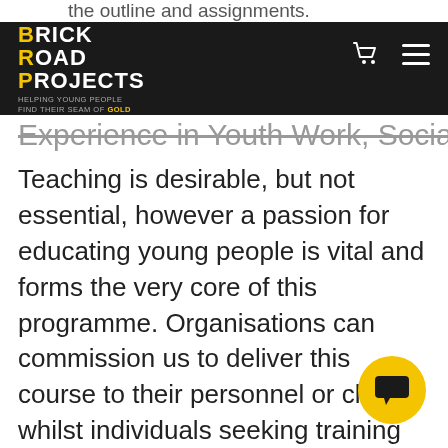Yellow Brick Road Projects — HELPING YOUNG PEOPLE FIND THEIR SEAM OF GOLD
Experience in Youth Work, Social Work, and Teaching is desirable, but not essential, however a passion for educating young people is vital and forms the very core of this programme. Organisations can commission us to deliver this course to their personnel or clients whilst individuals seeking training are equally encouraged to get in contact. Applications will be treated on a case by case basis, so do get in touch if you would like more information or are considering applying.